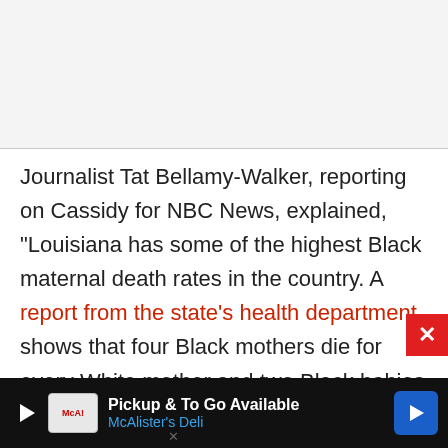Journalist Tat Bellamy-Walker, reporting on Cassidy for NBC News, explained, "Louisiana has some of the highest Black maternal death rates in the country. A report from the state's health department shows that four Black mothers die for every White mother and two Black babies die for every one White baby. In the United States, Black mothers are three times more
[Figure (other): Advertisement bar at bottom of page: McAlister's Deli 'Pickup & To Go Available' ad with play button, logo, text, and blue directional arrow icon on dark background]